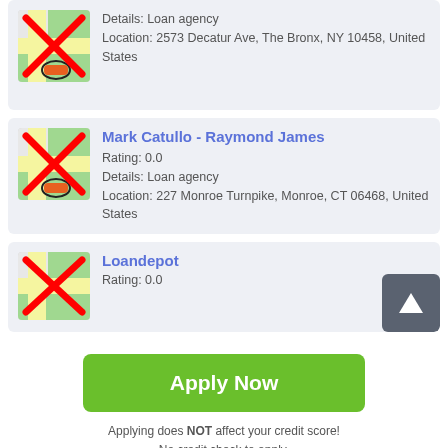[Figure (screenshot): Partial card at top showing a map icon with red X and details for a loan agency at 2573 Decatur Ave, The Bronx, NY 10458]
Details: Loan agency
Location: 2573 Decatur Ave, The Bronx, NY 10458, United States
Mark Catullo - Raymond James
Rating: 0.0
Details: Loan agency
Location: 227 Monroe Turnpike, Monroe, CT 06468, United States
Loandepot
Rating: 0.0
Apply Now
Applying does NOT affect your credit score!
No credit check to apply.